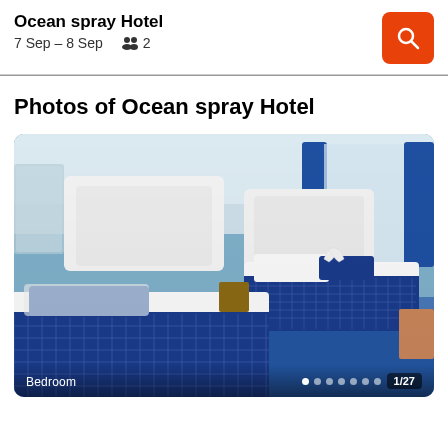Ocean spray Hotel
7 Sep – 8 Sep   2
Photos of Ocean spray Hotel
[Figure (photo): Hotel bedroom with two beds featuring blue and white patterned bedspreads, blue pillows, white headboards, blue carpet, blue curtains, and towel swans on the far bed. Caption area shows 'Bedroom' label and '1/27' counter with dot navigation.]